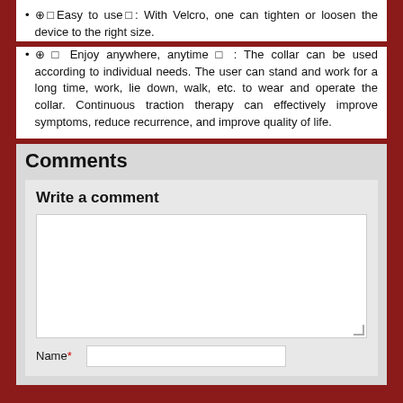⊕ Easy to use: With Velcro, one can tighten or loosen the device to the right size.
⊕  Enjoy anywhere, anytime : The collar can be used according to individual needs. The user can stand and work for a long time, work, lie down, walk, etc. to wear and operate the collar. Continuous traction therapy can effectively improve symptoms, reduce recurrence, and improve quality of life.
Comments
Write a comment
[textarea]
Name* [input]